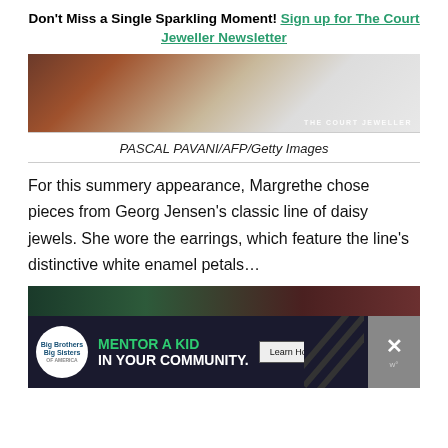Don't Miss a Single Sparkling Moment! Sign up for The Court Jeweller Newsletter
[Figure (photo): Cropped photo of a person in white clothing, with THE COURT JEWELLER watermark at bottom right]
PASCAL PAVANI/AFP/Getty Images
For this summery appearance, Margrethe chose pieces from Georg Jensen's classic line of daisy jewels. She wore the earrings, which feature the line's distinctive white enamel petals...
[Figure (photo): Partially visible photo at bottom with an advertisement overlay for Big Brothers Big Sisters: MENTOR A KID IN YOUR COMMUNITY. Learn How button, with diagonal pattern and close button.]